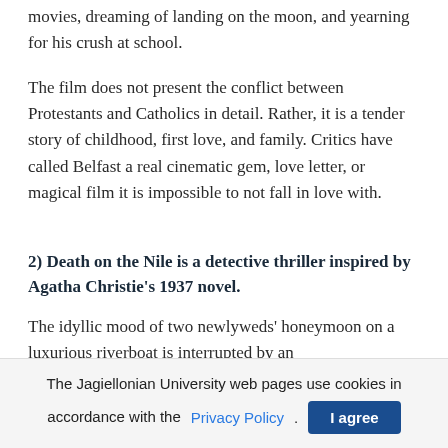movies, dreaming of landing on the moon, and yearning for his crush at school.
The film does not present the conflict between Protestants and Catholics in detail. Rather, it is a tender story of childhood, first love, and family. Critics have called Belfast a real cinematic gem, love letter, or magical film it is impossible to not fall in love with.
2) Death on the Nile is a detective thriller inspired by Agatha Christie's 1937 novel.
The idyllic mood of two newlyweds' honeymoon on a luxurious riverboat is interrupted by an
The Jagiellonian University web pages use cookies in accordance with the Privacy Policy . I agree